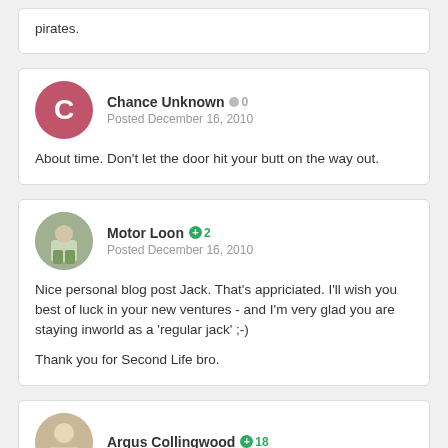pirates.
Chance Unknown  0
Posted December 16, 2010
About time. Don't let the door hit your butt on the way out.
Motor Loon  +2
Posted December 16, 2010
Nice personal blog post Jack. That's appriciated. I'll wish you best of luck in your new ventures - and I'm very glad you are staying inworld as a 'regular jack' ;-)

Thank you for Second Life bro.
Argus Collingwood  +18